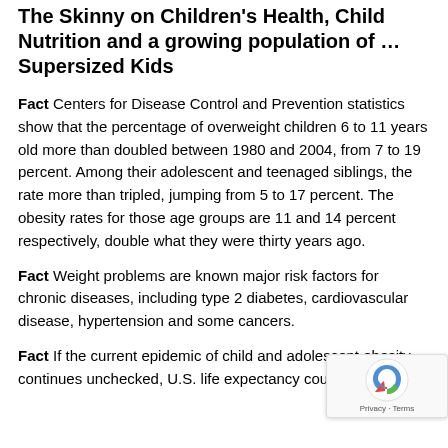The Skinny on Children's Health, Child Nutrition and a growing population of … Supersized Kids
Fact  Centers for Disease Control and Prevention statistics show that the percentage of overweight children 6 to 11 years old more than doubled between 1980 and 2004, from 7 to 19 percent. Among their adolescent and teenaged siblings, the rate more than tripled, jumping from 5 to 17 percent. The obesity rates for those age groups are 11 and 14 percent respectively, double what they were thirty years ago.
Fact  Weight problems are known major risk factors for chronic diseases, including type 2 diabetes, cardiovascular disease, hypertension and some cancers.
Fact  If the current epidemic of child and adolescent obesity continues unchecked, U.S. life expectancy could